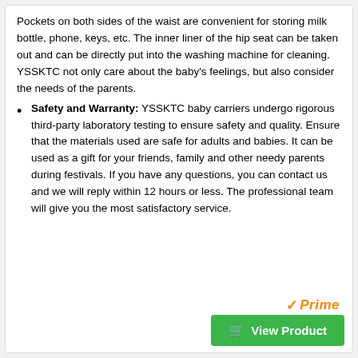Pockets on both sides of the waist are convenient for storing milk bottle, phone, keys, etc. The inner liner of the hip seat can be taken out and can be directly put into the washing machine for cleaning. YSSKTC not only care about the baby's feelings, but also consider the needs of the parents.
Safety and Warranty: YSSKTC baby carriers undergo rigorous third-party laboratory testing to ensure safety and quality. Ensure that the materials used are safe for adults and babies. It can be used as a gift for your friends, family and other needy parents during festivals. If you have any questions, you can contact us and we will reply within 12 hours or less. The professional team will give you the most satisfactory service.